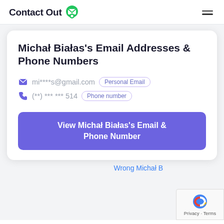ContactOut
Michał Białas's Email Addresses & Phone Numbers
mi****s@gmail.com  Personal Email
(**) *** *** 514  Phone number
View Michał Białas's Email & Phone Number
Wrong Michał B